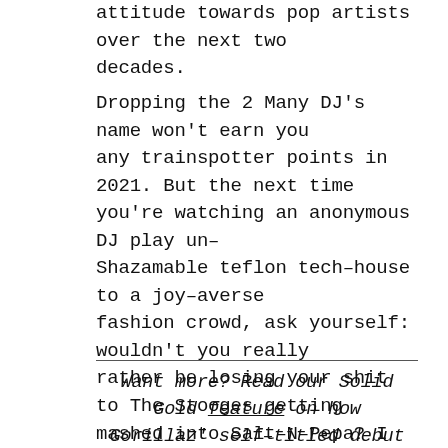attitude towards pop artists over the next two decades.
Dropping the 2 Many DJ's name won't earn you any trainspotter points in 2021. But the next time you're watching an anonymous DJ play un-Shazamable teflon tech-house to a joy-averse fashion crowd, ask yourself: wouldn't you really rather be losing your shit to The Stooges getting mashed into Salt-N-Pepa? I know where I stand...
Want more? Read our Solid Gold feature on how Gorillaz' self-titled debut ushered in a new era of pop music